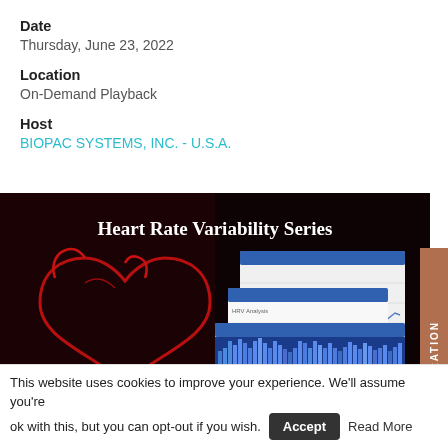Date
Thursday, June 23, 2022
Location
On-Demand Playback
Host
BIOPAC SYSTEMS, INC. - U.S.A.
[Figure (illustration): Heart Rate Variability Series promotional banner with a red outline illustration of a heart on dark background on the left, and screenshots of HRV analysis software windows on the right, with white serif title text 'Heart Rate Variability Series' at the top.]
REQUEST A DEMONSTRATION
This website uses cookies to improve your experience. We'll assume you're ok with this, but you can opt-out if you wish.